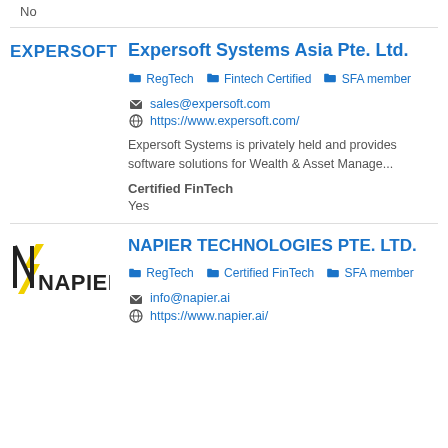No
Expersoft Systems Asia Pte. Ltd.
RegTech  Fintech Certified  SFA member
sales@expersoft.com
https://www.expersoft.com/
Expersoft Systems is privately held and provides software solutions for Wealth & Asset Manage...
Certified FinTech
Yes
NAPIER TECHNOLOGIES PTE. LTD.
RegTech  Certified FinTech  SFA member
info@napier.ai
https://www.napier.ai/